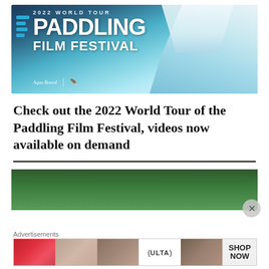[Figure (photo): 2022 World Tour Paddling Film Festival banner with aerial view of kayakers among glacial ice, with Aqua Bound and partner logos]
Check out the 2022 World Tour of the Paddling Film Festival, videos now available on demand
[Figure (photo): Partial view of a lush green forested area, partially covered by an advertisement overlay]
[Figure (photo): Ulta Beauty advertisement banner showing makeup and eye close-ups with SHOP NOW call to action]